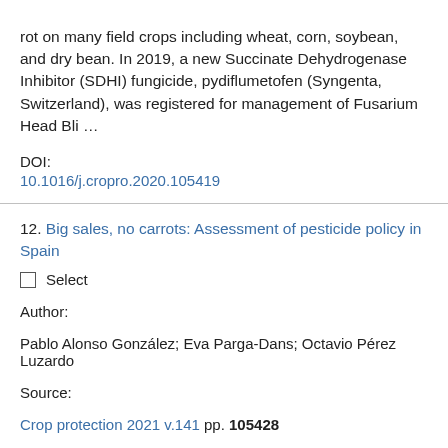rot on many field crops including wheat, corn, soybean, and dry bean. In 2019, a new Succinate Dehydrogenase Inhibitor (SDHI) fungicide, pydiflumetofen (Syngenta, Switzerland), was registered for management of Fusarium Head Bli…
DOI:
10.1016/j.cropro.2020.105419
12. Big sales, no carrots: Assessment of pesticide policy in Spain
Select
Author:
Pablo Alonso González; Eva Parga-Dans; Octavio Pérez Luzardo
Source:
Crop protection 2021 v.141 pp. 105428
ISSN:
0261-2194